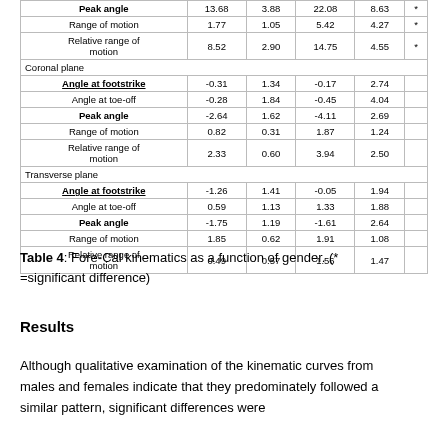|  | Male Mean | Male SD | Female Mean | Female SD |  |
| --- | --- | --- | --- | --- | --- |
| Peak angle | 13.68 | 3.88 | 22.08 | 8.63 | * |
| Range of motion | 1.77 | 1.05 | 5.42 | 4.27 | * |
| Relative range of motion | 8.52 | 2.90 | 14.75 | 4.55 | * |
| Coronal plane |  |  |  |  |  |
| Angle at footstrike | -0.31 | 1.34 | -0.17 | 2.74 |  |
| Angle at toe-off | -0.28 | 1.84 | -0.45 | 4.04 |  |
| Peak angle | -2.64 | 1.62 | -4.11 | 2.69 |  |
| Range of motion | 0.82 | 0.31 | 1.87 | 1.24 |  |
| Relative range of motion | 2.33 | 0.60 | 3.94 | 2.50 |  |
| Transverse plane |  |  |  |  |  |
| Angle at footstrike | -1.26 | 1.41 | -0.05 | 1.94 |  |
| Angle at toe-off | 0.59 | 1.13 | 1.33 | 1.88 |  |
| Peak angle | -1.75 | 1.19 | -1.61 | 2.64 |  |
| Range of motion | 1.85 | 0.62 | 1.91 | 1.08 |  |
| Relative range of motion | 0.49 | 0.57 | 1.56 | 1.47 |  |
Table 4: Fore-Cal kinematics as a function of gender. (* =significant difference)
Results
Although qualitative examination of the kinematic curves from males and females indicate that they predominately followed a similar pattern, significant differences were